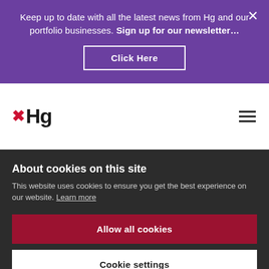Keep up to date with all the latest news from Hg and our portfolio businesses. Sign up for our newsletter…
Click Here
[Figure (logo): Hg logo with red cross/X symbol and bold Hg text, with hamburger menu icon on the right]
About cookies on this site
This website uses cookies to ensure you get the best experience on our website. Learn more
Allow all cookies
Cookie settings